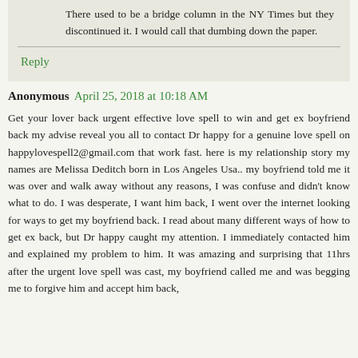There used to be a bridge column in the NY Times but they discontinued it. I would call that dumbing down the paper.
Reply
Anonymous  April 25, 2018 at 10:18 AM
Get your lover back urgent effective love spell to win and get ex boyfriend back my advise reveal you all to contact Dr happy for a genuine love spell on happylovespell2@gmail.com that work fast. here is my relationship story my names are Melissa Deditch born in Los Angeles Usa.. my boyfriend told me it was over and walk away without any reasons, I was confuse and didn't know what to do. I was desperate, I want him back, I went over the internet looking for ways to get my boyfriend back. I read about many different ways of how to get ex back, but Dr happy caught my attention. I immediately contacted him and explained my problem to him. It was amazing and surprising that 11hrs after the urgent love spell was cast, my boyfriend called me and was begging me to forgive him and accept him back,